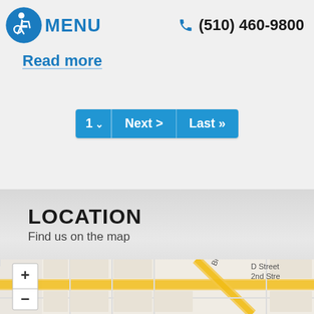MENU  (510) 460-9800
Read more
[Figure (screenshot): Pagination controls showing page 1 dropdown, Next > and Last >> buttons in blue]
LOCATION
Find us on the map
[Figure (map): Street map showing intersection with zoom controls, street labels including Blvd, D Street, 2nd Street]